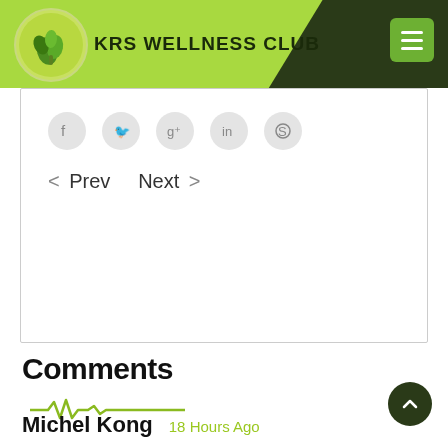KRS WELLNESS CLUB
[Figure (screenshot): Social media share icons: Facebook, Twitter, Google+, LinkedIn, Skype in grey circles]
< Prev   Next >
Comments
[Figure (illustration): Green heartbeat/EKG line decoration under Comments heading]
Michel Kong   18 Hours Ago